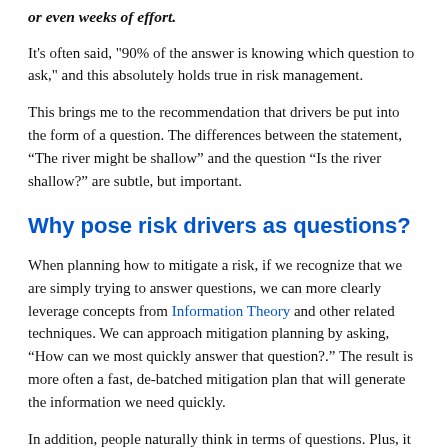or even weeks of effort.
It's often said, "90% of the answer is knowing which question to ask," and this absolutely holds true in risk management.
This brings me to the recommendation that drivers be put into the form of a question. The differences between the statement, “The river might be shallow” and the question “Is the river shallow?” are subtle, but important.
Why pose risk drivers as questions?
When planning how to mitigate a risk, if we recognize that we are simply trying to answer questions, we can more clearly leverage concepts from Information Theory and other related techniques. We can approach mitigation planning by asking, “How can we most quickly answer that question?.” The result is more often a fast, de-batched mitigation plan that will generate the information we need quickly.
In addition, people naturally think in terms of questions. Plus, it enables us to easily incorporate knowledge gaps of all kinds. It’s said